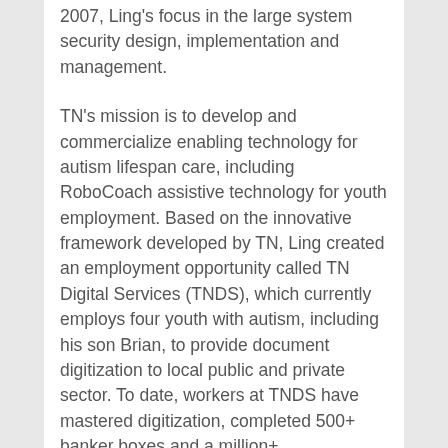2007, Ling's focus in the large system security design, implementation and management.
TN's mission is to develop and commercialize enabling technology for autism lifespan care, including RoboCoach assistive technology for youth employment. Based on the innovative framework developed by TN, Ling created an employment opportunity called TN Digital Services (TNDS), which currently employs four youth with autism, including his son Brian, to provide document digitization to local public and private sector. To date, workers at TNDS have mastered digitization, completed 500+ banker boxes and a million+